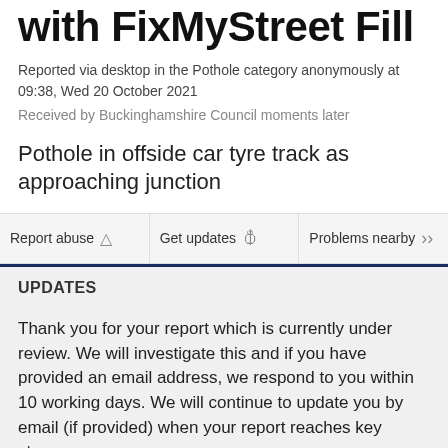with FixMyStreet Fill
Reported via desktop in the Pothole category anonymously at 09:38, Wed 20 October 2021
Received by Buckinghamshire Council moments later
Pothole in offside car tyre track as approaching junction
Report abuse | Get updates | Problems nearby
UPDATES
Thank you for your report which is currently under review. We will investigate this and if you have provided an email address, we respond to you within 10 working days. We will continue to update you by email (if provided) when your report reaches key stages.
IMPORTANT: To report anything dangerous, please call